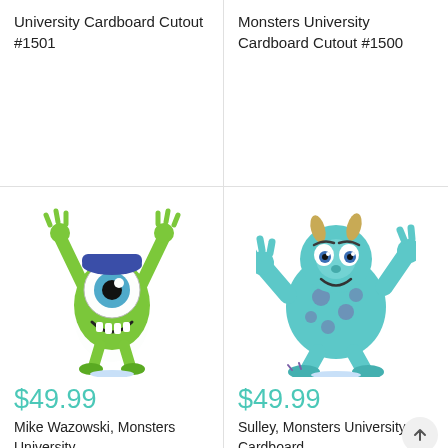University Cardboard Cutout #1501
Monsters University Cardboard Cutout #1500
[Figure (photo): Mike Wazowski character from Monsters University, green one-eyed monster wearing a blue cap, arms raised, mouth open, cardboard cutout product image]
[Figure (photo): Sulley character from Monsters University, large blue and purple furry monster running pose, cardboard cutout product image]
$49.99
$49.99
Mike Wazowski, Monsters University
Sulley, Monsters University Cardboard